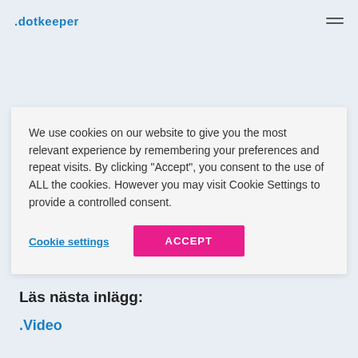.dotkeeper
We use cookies on our website to give you the most relevant experience by remembering your preferences and repeat visits. By clicking "Accept", you consent to the use of ALL the cookies. However you may visit Cookie Settings to provide a controlled consent.
Cookie settings
ACCEPT
Läs nästa inlägg:
.Video